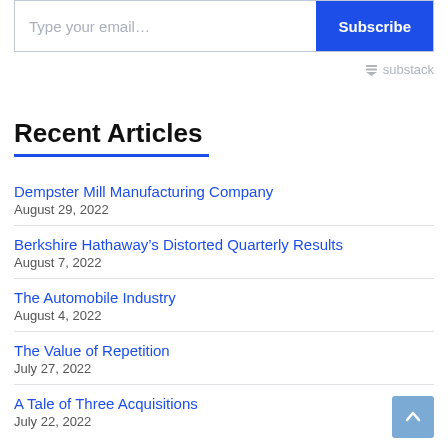Type your email... | Subscribe
substack
Recent Articles
Dempster Mill Manufacturing Company
August 29, 2022
Berkshire Hathaway’s Distorted Quarterly Results
August 7, 2022
The Automobile Industry
August 4, 2022
The Value of Repetition
July 27, 2022
A Tale of Three Acquisitions
July 22, 2022